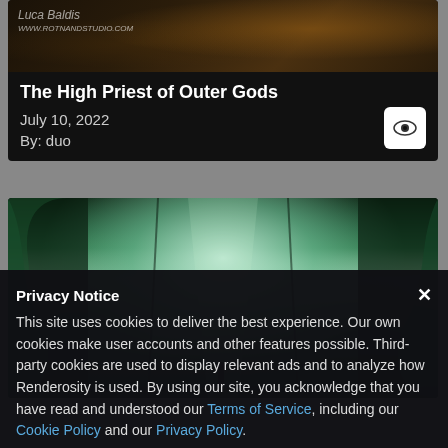[Figure (illustration): Dark fantasy artwork with brownish-orange tones, showing an elaborate creature or scene, with a watermark logo 'Luca Baldis / www.rotnandstudio.com' in the top-left corner]
The High Priest of Outer Gods
July 10, 2022
By: duo
[Figure (illustration): Green-toned fantasy artwork showing a large cave or organic tunnel structure with flowing forms in shades of green and white, with a small dark figure visible at the bottom center]
Privacy Notice
This site uses cookies to deliver the best experience. Our own cookies make user accounts and other features possible. Third-party cookies are used to display relevant ads and to analyze how Renderosity is used. By using our site, you acknowledge that you have read and understood our Terms of Service, including our Cookie Policy and our Privacy Policy.